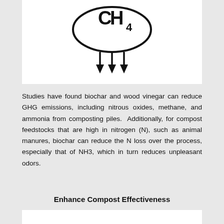[Figure (illustration): Icon showing CH4 molecule symbol inside an oval with three downward arrows beneath it, representing reduction of methane emissions.]
Studies have found biochar and wood vinegar can reduce GHG emissions, including nitrous oxides, methane, and ammonia from composting piles.  Additionally, for compost feedstocks that are high in nitrogen (N), such as animal manures, biochar can reduce the N loss over the process, especially that of NH3, which in turn reduces unpleasant odors.
Enhance Compost Effectiveness